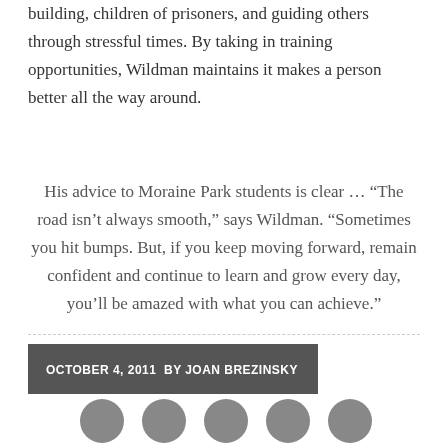building, children of prisoners, and guiding others through stressful times. By taking in training opportunities, Wildman maintains it makes a person better all the way around.
His advice to Moraine Park students is clear … “The road isn’t always smooth,” says Wildman. “Sometimes you hit bumps. But, if you keep moving forward, remain confident and continue to learn and grow every day, you’ll be amazed with what you can achieve.”
OCTOBER 4, 2011  BY JOAN BREZINSKY